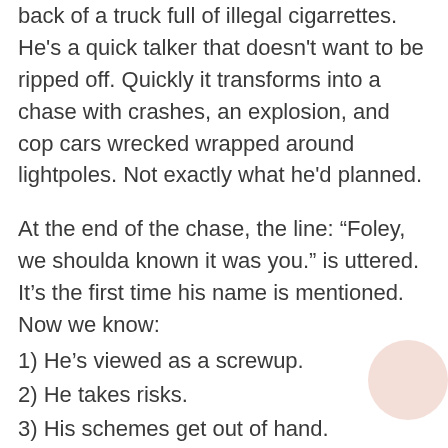Our fast talking hero is introduced in the back of a truck full of illegal cigarrettes. He's a quick talker that doesn't want to be ripped off. Quickly it transforms into a chase with crashes, an explosion, and cop cars wrecked wrapped around lightpoles. Not exactly what he'd planned.
At the end of the chase, the line: “Foley, we shoulda known it was you.” is uttered. It’s the first time his name is mentioned. Now we know:
1) He’s viewed as a screwup.
2) He takes risks.
3) His schemes get out of hand.
4) He probably has disregard for the rules.
This is all confirmed by the next scene with his boss.